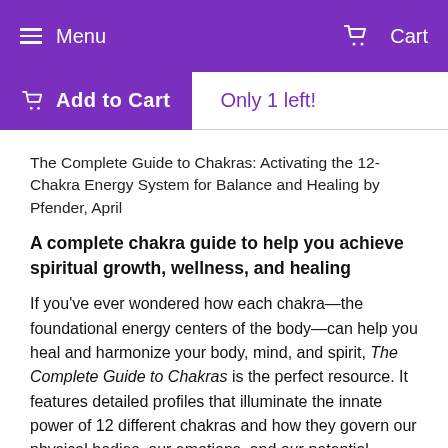Menu   Cart
Add to Cart   Only 1 left!
The Complete Guide to Chakras: Activating the 12-Chakra Energy System for Balance and Healing by Pfender, April
A complete chakra guide to help you achieve spiritual growth, wellness, and healing
If you've ever wondered how each chakra—the foundational energy centers of the body—can help you heal and harmonize your body, mind, and spirit, The Complete Guide to Chakras is the perfect resource. It features detailed profiles that illuminate the innate power of 12 different chakras and how they govern our physical bodies, our emotions, and our potential.
The wide range of meditation-based exercises will help you